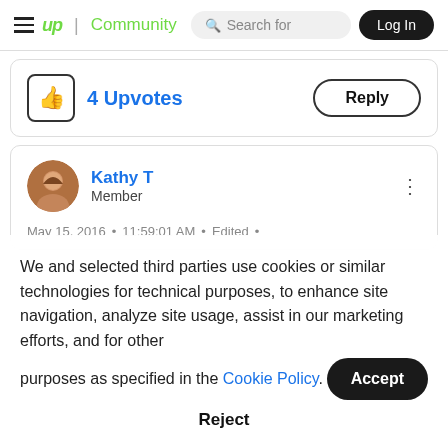up | Community  Search for  Log In
4 Upvotes   Reply
Kathy T
Member
May 15, 2016 • 11:59:01 AM • Edited •
We and selected third parties use cookies or similar technologies for technical purposes, to enhance site navigation, analyze site usage, assist in our marketing efforts, and for other purposes as specified in the Cookie Policy.
Accept
Reject